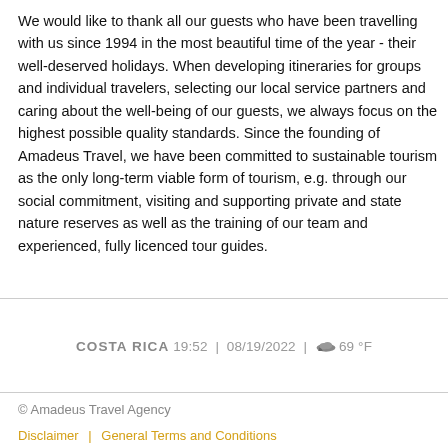We would like to thank all our guests who have been travelling with us since 1994 in the most beautiful time of the year - their well-deserved holidays. When developing itineraries for groups and individual travelers, selecting our local service partners and caring about the well-being of our guests, we always focus on the highest possible quality standards. Since the founding of Amadeus Travel, we have been committed to sustainable tourism as the only long-term viable form of tourism, e.g. through our social commitment, visiting and supporting private and state nature reserves as well as the training of our team and experienced, fully licenced tour guides.
COSTA RICA 19:52 | 08/19/2022 | 69 °F
© Amadeus Travel Agency
Disclaimer | General Terms and Conditions